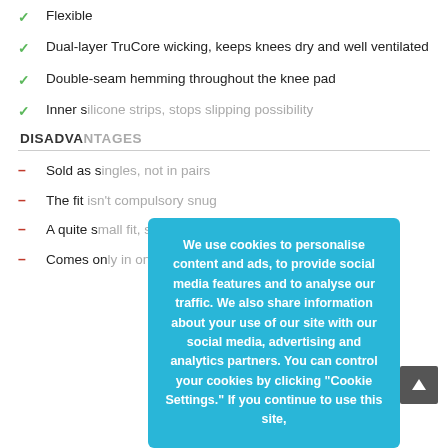Flexible
Dual-layer TruCore wicking, keeps knees dry and well ventilated
Double-seam hemming throughout the knee pad
Inner silicone strips, stops slipping possibility
DISADVANTAGES
Sold as singles, not in pairs
The fit isn't compulsory snug
A quite small fit, so recommended to order a size up
Comes only in one size
[Figure (other): Cookie consent overlay popup with text: We use cookies to personalise content and ads, to provide social media features and to analyse our traffic. We also share information about your use of our site with our social media, advertising and analytics partners. You can control your cookies by clicking "Cookie Settings." If you continue to use this site,]
[Figure (other): Scroll to top button (grey square with white upward arrow)]